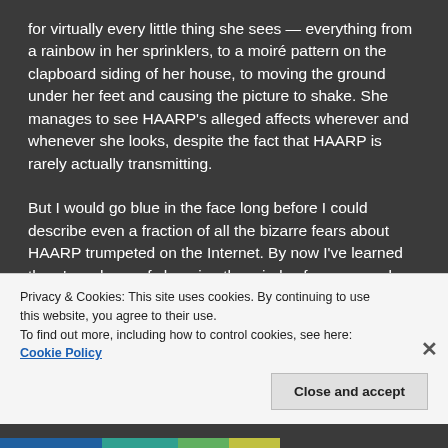for virtually every little thing she sees — everything from a rainbow in her sprinklers, to a moiré pattern on the clapboard siding of her house, to moving the ground under her feet and causing the picture to shake. She manages to see HAARP's alleged affects wherever and whenever she looks, despite the fact that HAARP is rarely actually transmitting.
But I would go blue in the face long before I could describe even a fraction of all the bizarre fears about HAARP trumpeted on the Internet. By now I've learned there's no hope of changing the minds of some people who have latched onto the idea that global domination is as easy as the erection of what amounts to little more than 180 cell phone towers — if destroying another
Privacy & Cookies: This site uses cookies. By continuing to use this website, you agree to their use.
To find out more, including how to control cookies, see here: Cookie Policy
Close and accept